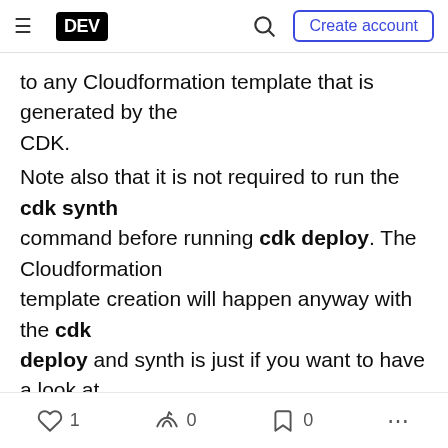DEV — Create account
to any Cloudformation template that is generated by the CDK.
Note also that it is not required to run the cdk synth command before running cdk deploy. The Cloudformation template creation will happen anyway with the cdk deploy and synth is just if you want to have a look at the generated Cloudformation.
Adding more infrastructure
1  0  0  ...